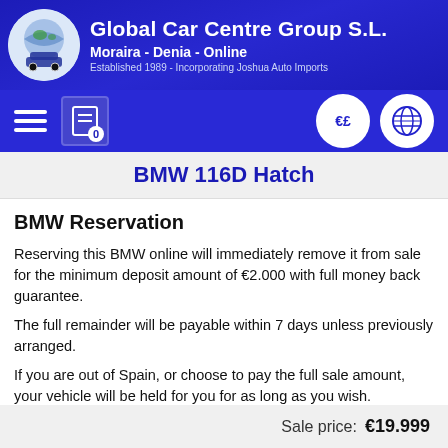Global Car Centre Group S.L. | Moraira - Denia - Online | Established 1989 - Incorporating Joshua Auto Imports
BMW 116D Hatch
BMW Reservation
Reserving this BMW online will immediately remove it from sale for the minimum deposit amount of €2.000 with full money back guarantee.
The full remainder will be payable within 7 days unless previously arranged.
If you are out of Spain, or choose to pay the full sale amount, your vehicle will be held for you for as long as you wish.
Sale price: €19.999